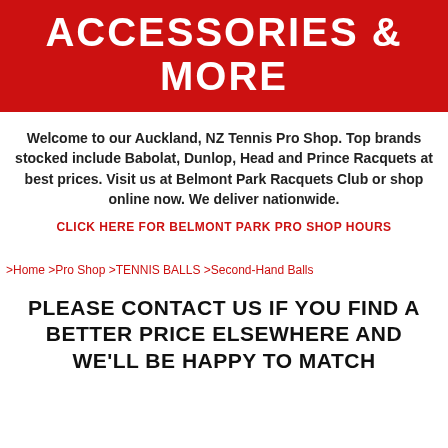ACCESSORIES & MORE
Welcome to our Auckland, NZ Tennis Pro Shop. Top brands stocked include Babolat, Dunlop, Head and Prince Racquets at best prices. Visit us at Belmont Park Racquets Club or shop online now. We deliver nationwide.
CLICK HERE FOR BELMONT PARK PRO SHOP HOURS
>Home >Pro Shop >TENNIS BALLS >Second-Hand Balls
PLEASE CONTACT US IF YOU FIND A BETTER PRICE ELSEWHERE AND WE'LL BE HAPPY TO MATCH